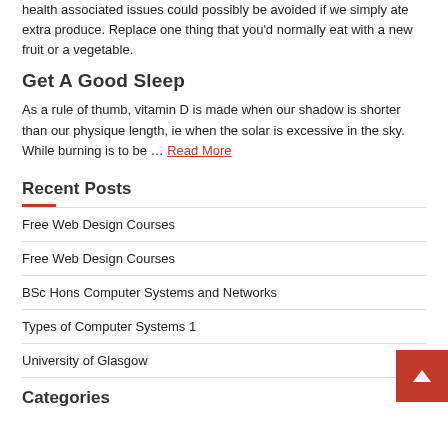health associated issues could possibly be avoided if we simply ate extra produce. Replace one thing that you'd normally eat with a new fruit or a vegetable.
Get A Good Sleep
As a rule of thumb, vitamin D is made when our shadow is shorter than our physique length, ie when the solar is excessive in the sky. While burning is to be … Read More
Recent Posts
Free Web Design Courses
Free Web Design Courses
BSc Hons Computer Systems and Networks
Types of Computer Systems 1
University of Glasgow
Categories